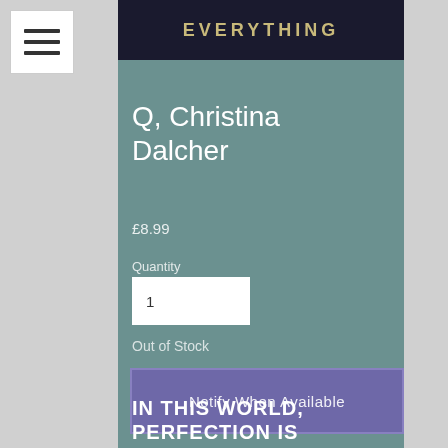[Figure (screenshot): Hamburger/menu icon with three horizontal bars on white background]
[Figure (photo): Book cover top portion showing text 'EVERYTHING' in golden letters on dark starburst background]
Q, Christina Dalcher
£8.99
Quantity
1
Out of Stock
Notify When Available
IN THIS WORLD, PERFECTION IS